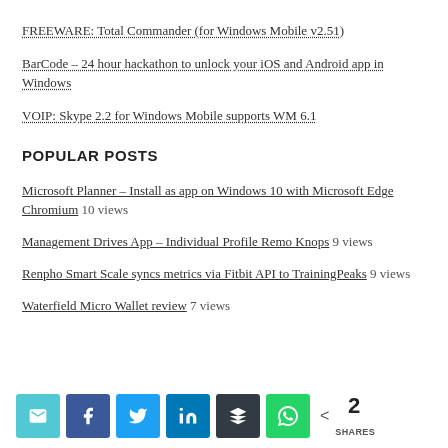FREEWARE: Total Commander (for Windows Mobile v2.51)
BarCode – 24 hour hackathon to unlock your iOS and Android app in Windows
VOIP: Skype 2.2 for Windows Mobile supports WM 6.1
POPULAR POSTS
Microsoft Planner – Install as app on Windows 10 with Microsoft Edge Chromium 10 views
Management Drives App – Individual Profile Remo Knops 9 views
Renpho Smart Scale syncs metrics via Fitbit API to TrainingPeaks 9 views
Waterfield Micro Wallet review 7 views
[Figure (infographic): Social share buttons row: email (cyan), facebook (blue), twitter (light blue), linkedin (dark blue), buffer (dark grey), whatsapp (green), share count showing 2 SHARES]